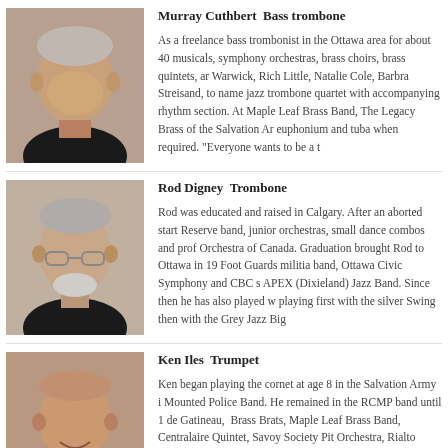[Figure (photo): Headshot of Murray Cuthbert, older man in black shirt]
Murray Cuthbert  Bass trombone
As a freelance bass trombonist in the Ottawa area for about 40 years, playing musicals, symphony orchestras, brass choirs, brass quintets, and backing Dionne Warwick, Rich Little, Natalie Cole, Barbra Streisand, to name a few. He also leads a jazz trombone quartet with accompanying rhythm section. At present he plays with Maple Leaf Brass Band, The Legacy Brass of the Salvation Army and doubles on euphonium and tuba when required. "Everyone wants to be a trombonist!"
[Figure (photo): Headshot of Rod Digney, older man with glasses and grey beard in black shirt]
Rod Digney  Trombone
Rod was educated and raised in Calgary. After an aborted start in music he played in Reserve band, junior orchestras, small dance combos and professionally with the Orchestra of Canada. Graduation brought Rod to Ottawa in 1966 where he played Foot Guards militia band, Ottawa Civic Symphony and CBC studio orchestra, and APEX (Dixieland) Jazz Band. Since then he has also played with big bands including playing first with the silver Swing then with the Grey Jazz Big Band.
[Figure (photo): Headshot of Ken Iles, bald man smiling in dark shirt]
Ken Iles  Trumpet
Ken began playing the cornet at age 8 in the Salvation Army and later joined the Royal Canadian Mounted Police Band. He remained in the RCMP band until 1999. He has played with Fanfare de Gatineau, Brass Brats, Maple Leaf Brass Band, Centralairen Brass, Capital Brass Quintet, Savoy Society Pit Orchestra, Rialto Rhythm Revelers and many others.